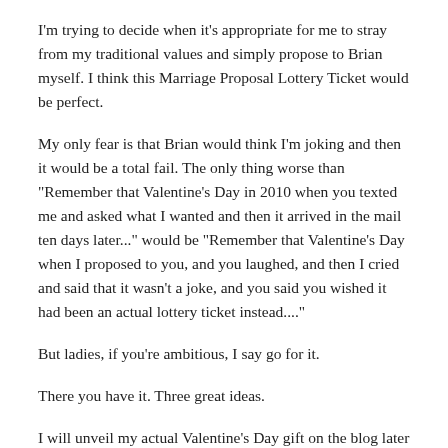I'm trying to decide when it's appropriate for me to stray from my traditional values and simply propose to Brian myself. I think this Marriage Proposal Lottery Ticket would be perfect.
My only fear is that Brian would think I'm joking and then it would be a total fail. The only thing worse than "Remember that Valentine's Day in 2010 when you texted me and asked what I wanted and then it arrived in the mail ten days later..." would be "Remember that Valentine's Day when I proposed to you, and you laughed, and then I cried and said that it wasn't a joke, and you said you wished it had been an actual lottery ticket instead...."
But ladies, if you're ambitious, I say go for it.
There you have it. Three great ideas.
I will unveil my actual Valentine's Day gift on the blog later in February.